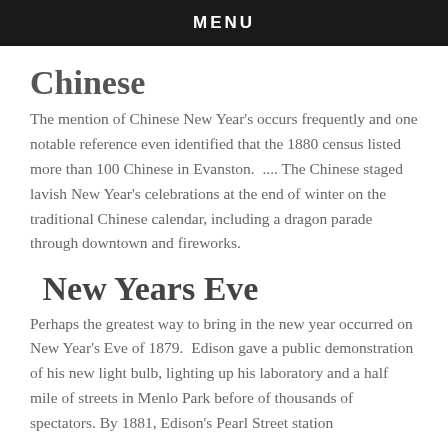MENU
Chinese
The mention of Chinese New Year's occurs frequently and one notable reference even identified that the 1880 census listed more than 100 Chinese in Evanston.  .... The Chinese staged lavish New Year's celebrations at the end of winter on the traditional Chinese calendar, including a dragon parade through downtown and fireworks.
New Years Eve
Perhaps the greatest way to bring in the new year occurred on New Year's Eve of 1879.  Edison gave a public demonstration of his new light bulb, lighting up his laboratory and a half mile of streets in Menlo Park before of thousands of spectators. By 1881, Edison's Pearl Street station